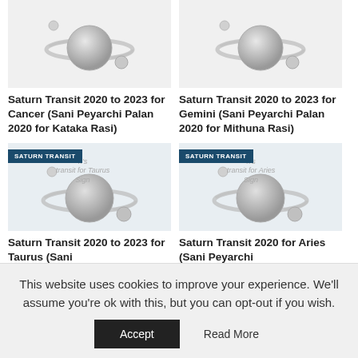[Figure (illustration): Saturn planet illustration for Cancer/Kataka Rasi article]
[Figure (illustration): Saturn planet illustration for Gemini/Mithuna Rasi article]
Saturn Transit 2020 to 2023 for Cancer (Sani Peyarchi Palan 2020 for Kataka Rasi)
Saturn Transit 2020 to 2023 for Gemini (Sani Peyarchi Palan 2020 for Mithuna Rasi)
[Figure (illustration): Saturn planet illustration with SATURN TRANSIT badge and 'transit for Taurus Sign' text]
[Figure (illustration): Saturn planet illustration with SATURN TRANSIT badge and 'transit for Aries Sign' text]
Saturn Transit 2020 to 2023 for Taurus (Sani Peyarchi Palan 2020 for...
Saturn Transit 2020 for Aries (Sani Peyarchi Palan 2020 for Mesh...
This website uses cookies to improve your experience. We'll assume you're ok with this, but you can opt-out if you wish.
Accept
Read More